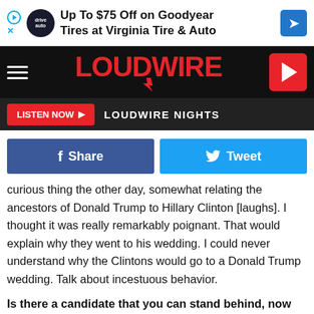[Figure (screenshot): Virginia Tire & Auto advertisement banner: Up To $75 Off on Goodyear Tires at Virginia Tire & Auto]
[Figure (logo): Loudwire website navigation bar with hamburger menu, Loudwire logo in red, and red play button]
[Figure (screenshot): Listen Now button and LOUDWIRE NIGHTS label on dark navigation bar]
[Figure (screenshot): Share on Facebook and Tweet social media buttons]
curious thing the other day, somewhat relating the ancestors of Donald Trump to Hillary Clinton [laughs]. I thought it was really remarkably poignant. That would explain why they went to his wedding. I could never understand why the Clintons would go to a Donald Trump wedding. Talk about incestuous behavior.
Is there a candidate that you can stand behind, now that you're
[Figure (screenshot): Ashburn Virginia Tire & Auto ad: OPEN 7:30AM-6PM, 43781 Parkhurst Plaza, Ashburn]